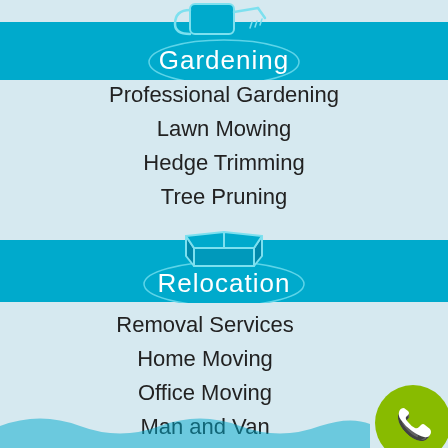[Figure (infographic): Gardening section banner with watering can icon, cyan/blue background, and white text reading 'Gardening']
Professional Gardening
Lawn Mowing
Hedge Trimming
Tree Pruning
[Figure (infographic): Relocation section banner with open box icon, cyan/blue background, and white text reading 'Relocation']
Removal Services
Home Moving
Office Moving
Man and Van
[Figure (illustration): Green circular phone/call button in bottom right corner]